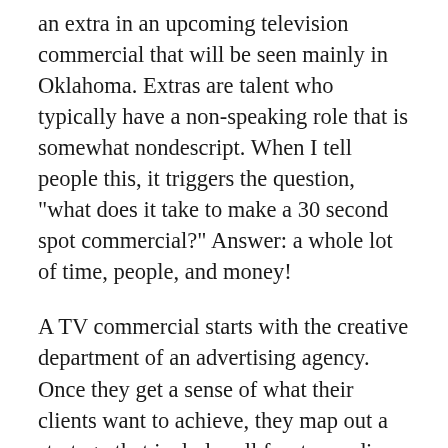an extra in an upcoming television commercial that will be seen mainly in Oklahoma. Extras are talent who typically have a non-speaking role that is somewhat nondescript. When I tell people this, it triggers the question, "what does it take to make a 30 second spot commercial?" Answer: a whole lot of time, people, and money!
A TV commercial starts with the creative department of an advertising agency. Once they get a sense of what their clients want to achieve, they map out a strategy that includes all facets: media, creative, you name it. Then there is the storyboard, a sequence of drawing with dialogue and some direction, of how the spot will look. Once approved by the advertiser, the agency then plans the actual production process.